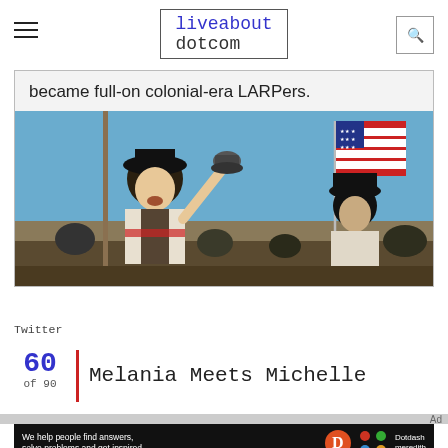liveabout dotcom
became full-on colonial-era LARPers.
[Figure (photo): People dressed in colonial-era costumes at an outdoor rally, holding a pole and ringing a bell, with an American flag in the background and a blue sky.]
Twitter
60 of 90 | Melania Meets Michelle
[Figure (infographic): Advertisement banner: 'We help people find answers, solve problems and get inspired.' with Dotdash Meredith logo.]